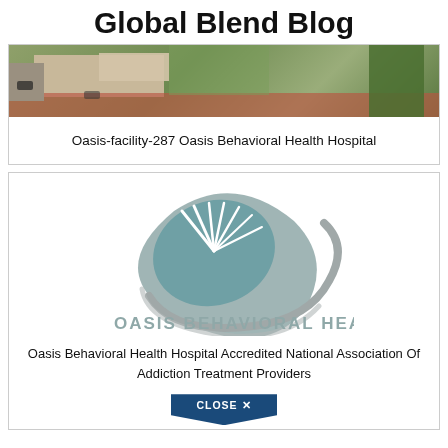Global Blend Blog
[Figure (photo): Aerial view of Oasis Behavioral Health Hospital facility with buildings, parking lot, red paved areas, and trees]
Oasis-facility-287 Oasis Behavioral Health Hospital
[Figure (logo): Oasis Behavioral Health logo — teal leaf/globe shape with radiating lines and text 'Oasis Behavioral Health']
Oasis Behavioral Health Hospital Accredited National Association Of Addiction Treatment Providers